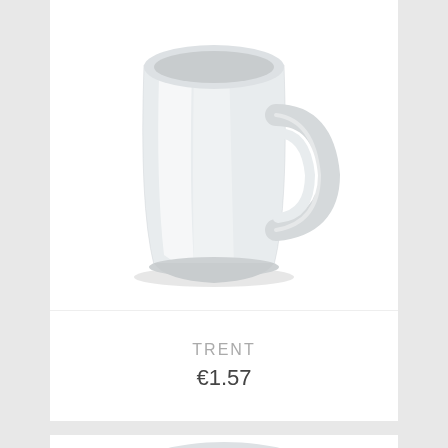[Figure (photo): White ceramic coffee mug with handle, photographed on white background. The mug is tapered at the bottom and has a classic shape with a looped handle on the right side.]
TRENT
€1.57
[Figure (photo): Partial view of another white ceramic mug, showing mostly the rim and upper portion, cropped at the bottom of the page.]